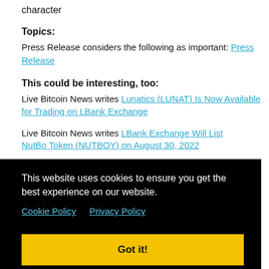character
Topics:
Press Release considers the following as important: Press Release
This could be interesting, too:
Live Bitcoin News writes Lunatics (LUNAT) Is Now Available for Trading on LBank Exchange
Live Bitcoin News writes LBank Exchange Will List NutBo Token (NUTBOY) on August 30, 2022
This website uses cookies to ensure you get the best experience on our website.
Cookie Policy   Privacy Policy
Got it!